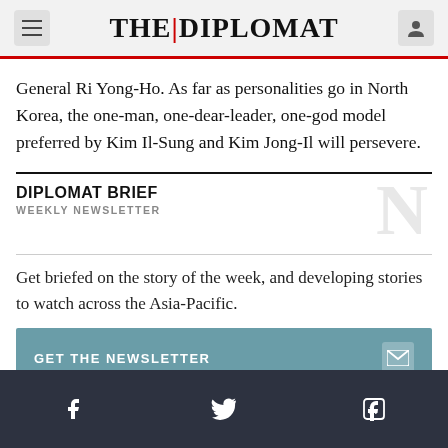THE DIPLOMAT
General Ri Yong-Ho. As far as personalities go in North Korea, the one-man, one-dear-leader, one-god model preferred by Kim Il-Sung and Kim Jong-Il will persevere.
DIPLOMAT BRIEF
WEEKLY NEWSLETTER
Get briefed on the story of the week, and developing stories to watch across the Asia-Pacific.
GET THE NEWSLETTER
f  Twitter  in